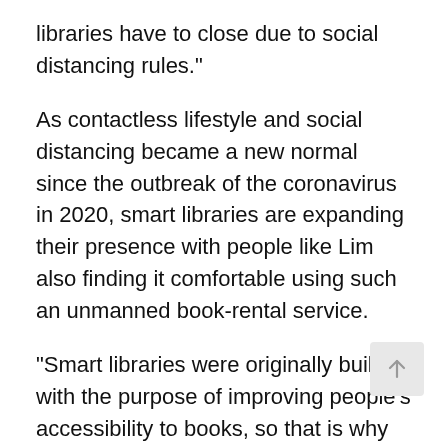libraries have to close due to social distancing rules."
As contactless lifestyle and social distancing became a new normal since the outbreak of the coronavirus in 2020, smart libraries are expanding their presence with people like Lim also finding it comfortable using such an unmanned book-rental service.
"Smart libraries were originally built with the purpose of improving people's accessibility to books, so that is why you can often find them in places like subway stations," said Lee Song-ja, a team leader in the library policy division at the Gyeonggi Provincial Office.
"But it is true that the use of smart libraries is